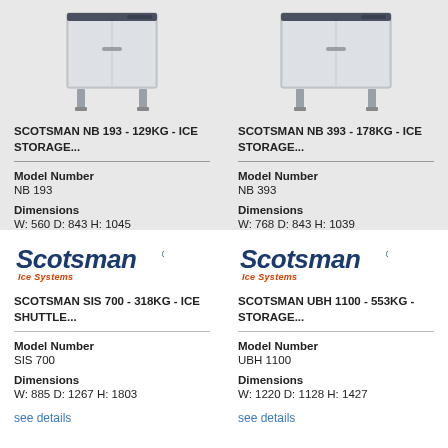[Figure (photo): Scotsman NB 193 ice storage unit - stainless steel under-counter bin with legs]
SCOTSMAN NB 193 - 129KG - ICE STORAGE...
Model Number
NB 193

Dimensions
W: 560  D: 843  H: 1045

see details
[Figure (photo): Scotsman NB 393 ice storage unit - stainless steel under-counter bin with legs]
SCOTSMAN NB 393 - 178KG - ICE STORAGE...
Model Number
NB 393

Dimensions
W: 768  D: 843  H: 1039

see details
[Figure (logo): Scotsman Ice Systems logo]
SCOTSMAN SIS 700 - 318KG - ICE SHUTTLE...
Model Number
SIS 700

Dimensions
W: 885  D: 1267  H: 1803

see details
[Figure (logo): Scotsman Ice Systems logo]
SCOTSMAN UBH 1100 - 553KG - STORAGE...
Model Number
UBH 1100

Dimensions
W: 1220  D: 1128  H: 1427

see details